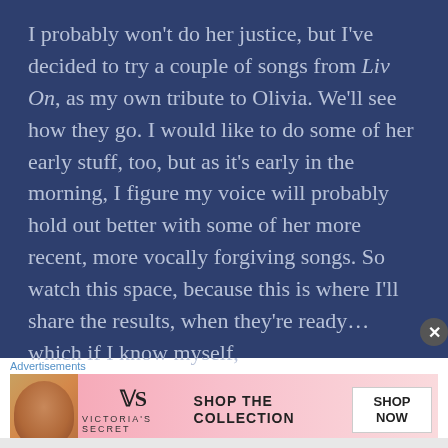I probably won't do her justice, but I've decided to try a couple of songs from Liv On, as my own tribute to Olivia. We'll see how they go. I would like to do some of her early stuff, too, but as it's early in the morning, I figure my voice will probably hold out better with some of her more recent, more vocally forgiving songs. So watch this space, because this is where I'll share the results, when they're ready… which if I know myself,
[Figure (infographic): Victoria's Secret advertisement banner with a model photo, VS logo, 'SHOP THE COLLECTION' text, and a 'SHOP NOW' button on pink/gradient background]
Advertisements